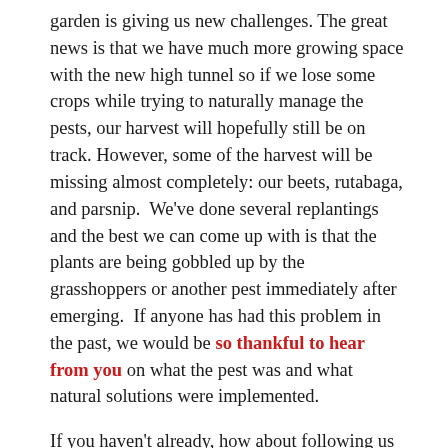garden is giving us new challenges. The great news is that we have much more growing space with the new high tunnel so if we lose some crops while trying to naturally manage the pests, our harvest will hopefully still be on track. However, some of the harvest will be missing almost completely: our beets, rutabaga, and parsnip.  We've done several replantings and the best we can come up with is that the plants are being gobbled up by the grasshoppers or another pest immediately after emerging.  If anyone has had this problem in the past, we would be so thankful to hear from you on what the pest was and what natural solutions were implemented.
If you haven't already, how about following us on Facebook & Instagram?
Cheers! Peace, Love and Nature,
-L